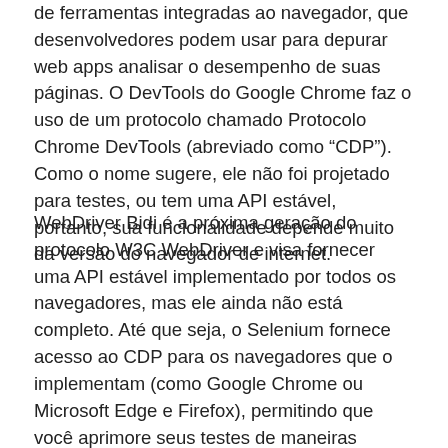de ferramentas integradas ao navegador, que desenvolvedores podem usar para depurar web apps analisar o desempenho de suas páginas. O DevTools do Google Chrome faz o uso de um protocolo chamado Protocolo Chrome DevTools (abreviado como “CDP”). Como o nome sugere, ele não foi projetado para testes, ou tem uma API estável, portanto, sua funcionalidade depende muito da versão do navegador de internet.
WebDriver Bidi é a próxima geração do protocolo W3C WebDriver e visa fornecer uma API estável implementado por todos os navegadores, mas ele ainda não está completo. Até que seja, o Selenium fornece acesso ao CDP para os navegadores que o implementam (como Google Chrome ou Microsoft Edge e Firefox), permitindo que você aprimore seus testes de maneiras interessantes. Alguns exemplos do que você pode fazer com ele são dadas abaixo.